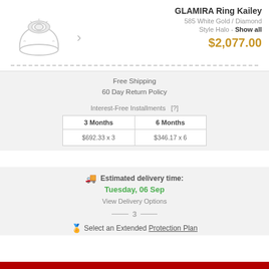[Figure (photo): Diamond halo engagement ring in white gold, shown at an angle]
GLAMIRA Ring Kailey
585 White Gold / Diamond
Style Halo - Show all
$2,077.00
Free Shipping
60 Day Return Policy
Interest-Free Installments [?]
| 3 Months | 6 Months |
| --- | --- |
| $692.33 x 3 | $346.17 x 6 |
Estimated delivery time:
Tuesday, 06 Sep
View Delivery Options
3
Select an Extended Protection Plan